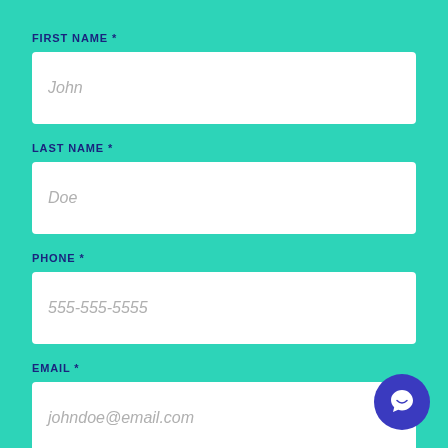FIRST NAME *
John
LAST NAME *
Doe
PHONE *
555-555-5555
EMAIL *
johndoe@email.com
[Figure (illustration): Blue circular chat button with white speech bubble icon in bottom right corner]